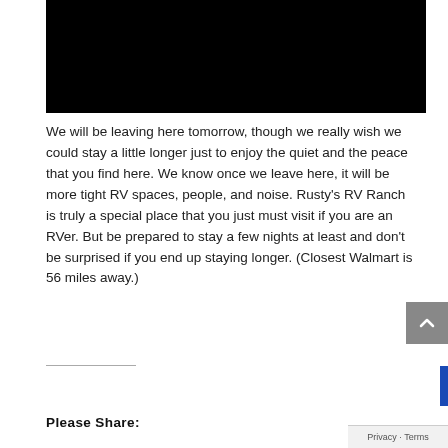[Figure (photo): Black/dark video or image frame at the top of the page]
We will be leaving here tomorrow, though we really wish we could stay a little longer just to enjoy the quiet and the peace that you find here. We know once we leave here, it will be more tight RV spaces, people, and noise. Rusty’s RV Ranch is truly a special place that you just must visit if you are an RVer. But be prepared to stay a few nights at least and don’t be surprised if you end up staying longer. (Closest Walmart is 56 miles away.)
Please Share: